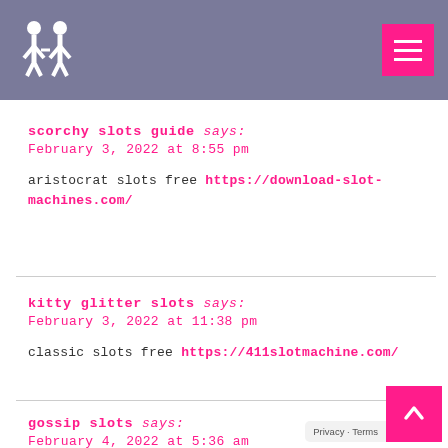Logo and navigation header
scorchy slots guide says:
February 3, 2022 at 8:55 pm
aristocrat slots free https://download-slot-machines.com/
kitty glitter slots says:
February 3, 2022 at 11:38 pm
classic slots free https://411slotmachine.com/
gossip slots says:
February 4, 2022 at 5:36 am